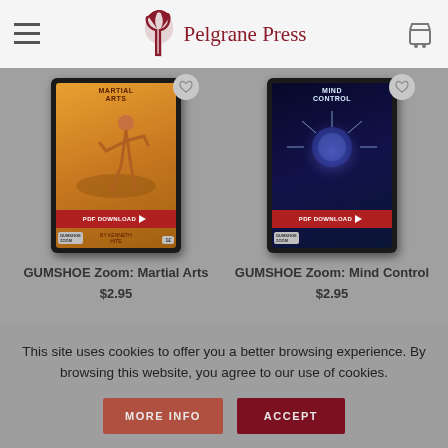Pelgrane Press
[Figure (photo): GUMSHOE Zoom: Martial Arts book cover showing a tablet device with PDF download banner, orange/tan illustrated cover with martial arts character]
[Figure (photo): GUMSHOE Zoom: Mind Control book cover showing a tablet device with PDF download banner, dark sci-fi cover with glowing brain imagery]
GUMSHOE Zoom: Martial Arts
$2.95
GUMSHOE Zoom: Mind Control
$2.95
This site uses cookies to offer you a better browsing experience. By browsing this website, you agree to our use of cookies.
MORE INFO
ACCEPT